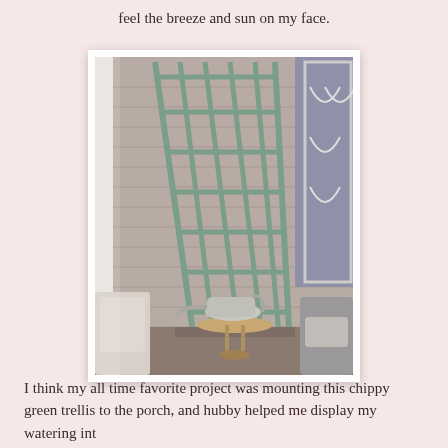feel the breeze and sun on my face.
[Figure (photo): A porch scene showing a green painted wooden trellis leaning against a taupe/grey house wall. In the foreground are wicker furniture, a small round wooden side table with a galvanized metal watering can on top, and cushioned seating. A decorative white screen door is visible on the right side.]
I think my all time favorite project was mounting this chippy green trellis to the porch, and hubby helped me display my watering int